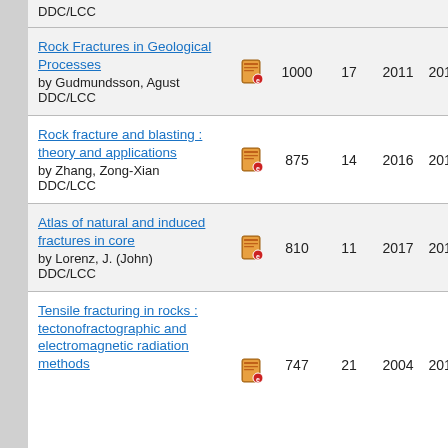DDC/LCC
Rock Fractures in Geological Processes by Gudmundsson, Agust DDC/LCC | 1000 | 17 | 2011 | 2014
Rock fracture and blasting : theory and applications by Zhang, Zong-Xian DDC/LCC | 875 | 14 | 2016 | 2016
Atlas of natural and induced fractures in core by Lorenz, J. (John) DDC/LCC | 810 | 11 | 2017 | 2018
Tensile fracturing in rocks : tectonofractographic and electromagnetic radiation methods | 747 | 21 | 2004 | 2019